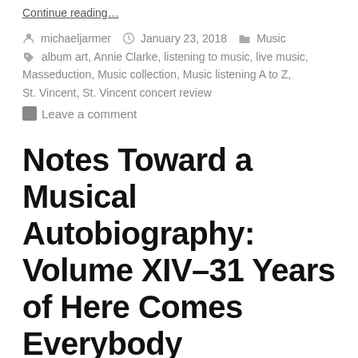Continue reading…
By michaeljarmer  January 23, 2018  Music
Tags: album art, Annie Clarke, listening to music, live music, Masseduction, Music collection, Music listening A to Z, St. Vincent, St. Vincent concert review
Leave a comment
Notes Toward a Musical Autobiography: Volume XIV–31 Years of Here Comes Everybody
Oh my. It's been almost an entire year since the last